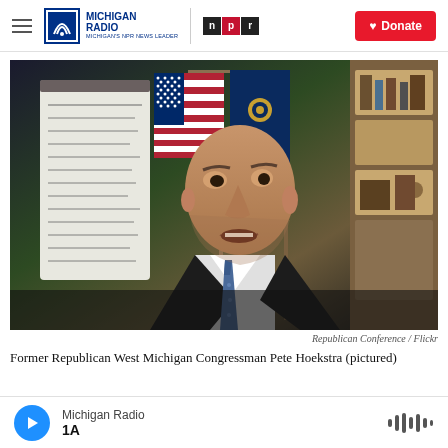Michigan Radio / NPR | Donate
[Figure (photo): Former Republican West Michigan Congressman Pete Hoekstra seated in what appears to be an office, with an American flag and a state flag in the background. He is wearing a dark suit with a blue tie and appears to be speaking.]
Republican Conference / Flickr
Former Republican West Michigan Congressman Pete Hoekstra (pictured)
Michigan Radio | 1A